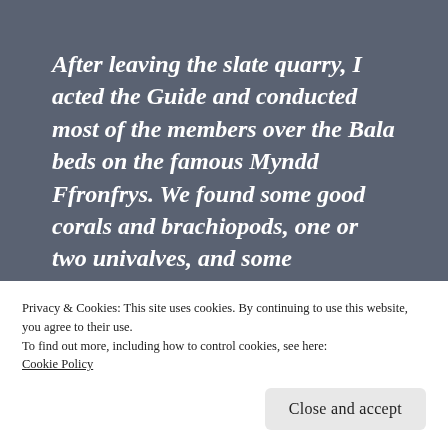After leaving the slate quarry, I acted the Guide and conducted most of the members over the Bala beds on the famous Myndd Ffronfrys. We found some good corals and brachiopods, one or two univalves, and some fragments of trilobites.
In 1892 there is evidence of Thomas Ruddy's continuing interest in geology, and his
Privacy & Cookies: This site uses cookies. By continuing to use this website, you agree to their use.
To find out more, including how to control cookies, see here:
Cookie Policy
Close and accept